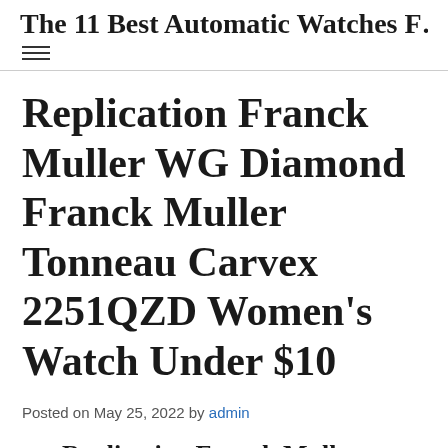The 11 Best Automatic Watches F…
Replication Franck Muller WG Diamond Franck Muller Tonneau Carvex 2251QZD Women's Watch Under $10
Posted on May 25, 2022 by admin
Replication Franck Muller WG…